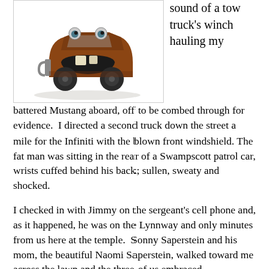[Figure (illustration): Illustration of Mater, the animated tow truck character from Pixar's Cars, shown as a rusty, battered old tow truck with a wide grinning mouth and buck teeth.]
sound of a tow truck's winch hauling my battered Mustang aboard, off to be combed through for evidence.  I directed a second truck down the street a mile for the Infiniti with the blown front windshield. The fat man was sitting in the rear of a Swampscott patrol car, wrists cuffed behind his back; sullen, sweaty and shocked.
I checked in with Jimmy on the sergeant's cell phone and, as it happened, he was on the Lynnway and only minutes from us here at the temple.  Sonny Saperstein and his mom, the beautiful Naomi Saperstein, walked toward me across the lawn and the three of us embraced, f...